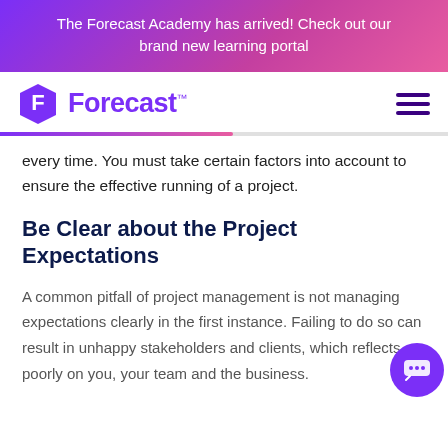The Forecast Academy has arrived! Check out our brand new learning portal
[Figure (logo): Forecast logo: purple hexagon icon with F, and purple Forecast wordmark]
every time. You must take certain factors into account to ensure the effective running of a project.
Be Clear about the Project Expectations
A common pitfall of project management is not managing expectations clearly in the first instance. Failing to do so can result in unhappy stakeholders and clients, which reflects poorly on you, your team and the business.